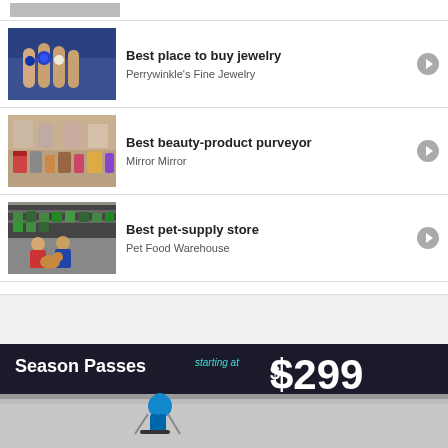[Figure (photo): Partial view of a wooden furniture/antique shop item at the very top of the page]
Best place to buy jewelry
Perrywinkle's Fine Jewelry
Best beauty-product purveyor
Mirror Mirror
Best pet-supply store
Pet Food Warehouse
[Figure (photo): Advertisement banner: Season Passes starting at $299, with a skier on a snowy slope]